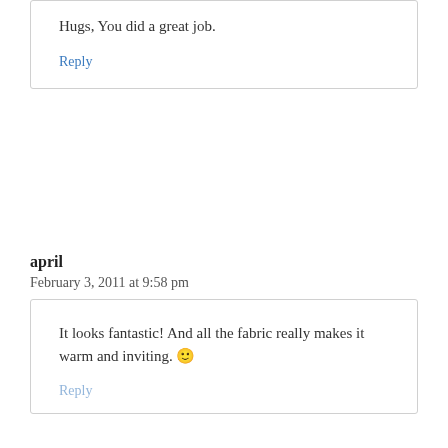Hugs, You did a great job.
Reply
april
February 3, 2011 at 9:58 pm
It looks fantastic! And all the fabric really makes it warm and inviting. 🙂
Reply